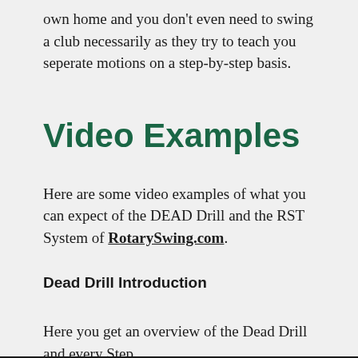own home and you don't even need to swing a club necessarily as they try to teach you seperate motions on a step-by-step basis.
Video Examples
Here are some video examples of what you can expect of the DEAD Drill and the RST System of RotarySwing.com.
Dead Drill Introduction
Here you get an overview of the Dead Drill and every Step.